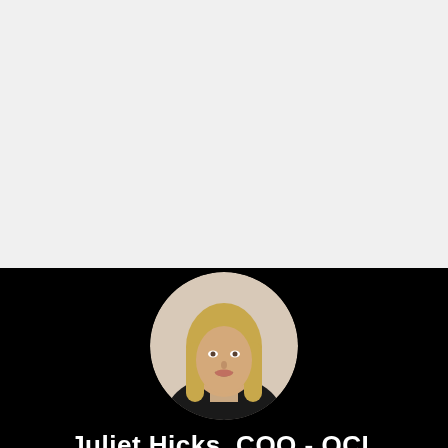[Figure (photo): Top half light gray background area, likely a slide or presentation background]
[Figure (photo): Circular portrait photo of a blonde woman smiling, wearing a dark top, set against a black background panel]
Juliet Hicks, COO - OCL